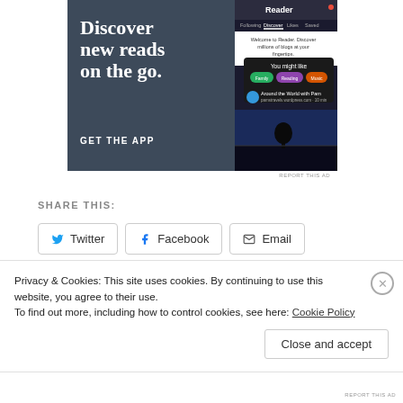[Figure (screenshot): WordPress Reader app advertisement showing 'Discover new reads on the go. GET THE APP' text on dark background with a phone screenshot showing the Reader interface with blog discovery features.]
REPORT THIS AD
SHARE THIS:
Twitter  Facebook  Email  Tumblr  Pinterest
Privacy & Cookies: This site uses cookies. By continuing to use this website, you agree to their use.
To find out more, including how to control cookies, see here: Cookie Policy
Close and accept